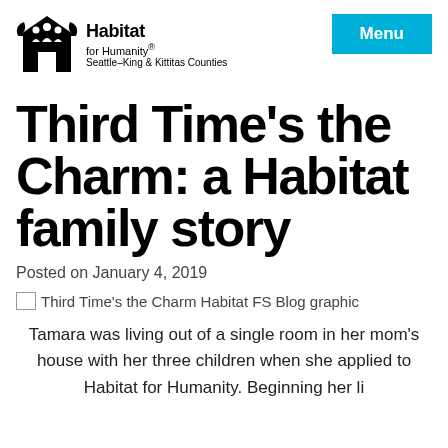Habitat for Humanity® Seattle–King & Kittitas Counties | Menu
Third Time's the Charm: a Habitat family story
Posted on January 4, 2019
[Figure (illustration): Third Time's the Charm Habitat FS Blog graphic (broken image placeholder)]
Tamara was living out of a single room in her mom's house with her three children when she applied to Habitat for Humanity. Beginning her life in a new ti…